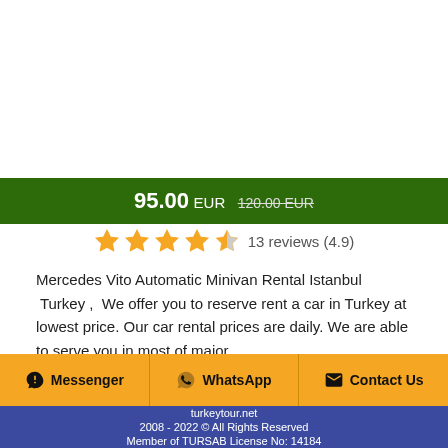95.00 EUR  120.00 EUR
13 reviews (4.9)
Mercedes Vito Automatic Minivan Rental Istanbul  Turkey ,  We offer you to reserve rent a car in Turkey at lowest price. Our car rental prices are daily. We are able to serve you in most of major
Messenger  WhatsApp  Contact Us
turkeytour.net
2008 - 2022 © All Rights Reserved
Member of TURSAB License No: 14184